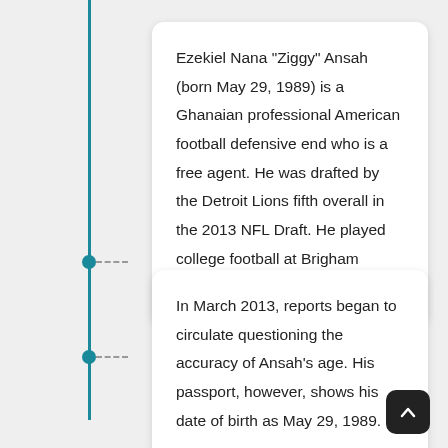Ezekiel Nana "Ziggy" Ansah (born May 29, 1989) is a Ghanaian professional American football defensive end who is a free agent. He was drafted by the Detroit Lions fifth overall in the 2013 NFL Draft. He played college football at Brigham Young University.
In March 2013, reports began to circulate questioning the accuracy of Ansah's age. His passport, however, shows his date of birth as May 29, 1989.